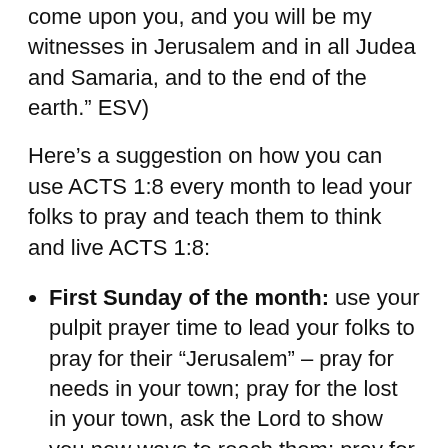come upon you, and you will be my witnesses in Jerusalem and in all Judea and Samaria, and to the end of the earth.” ESV)
Here’s a suggestion on how you can use ACTS 1:8 every month to lead your folks to pray and teach them to think and live ACTS 1:8:
First Sunday of the month: use your pulpit prayer time to lead your folks to pray for their “Jerusalem” – pray for needs in your town; pray for the lost in your town, ask the Lord to show you new ways to reach them; pray for the Lord to raise up faithful witnesses in your church, etc.